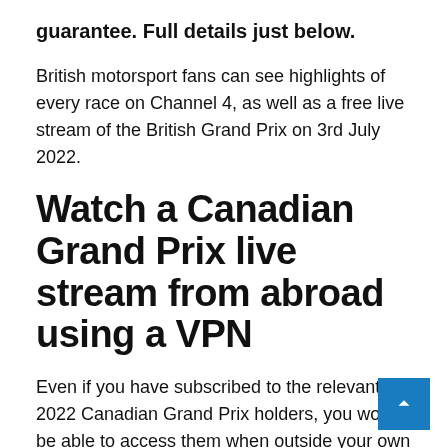guarantee. Full details just below.
British motorsport fans can see highlights of every race on Channel 4, as well as a free live stream of the British Grand Prix on 3rd July 2022.
Watch a Canadian Grand Prix live stream from abroad using a VPN
Even if you have subscribed to the relevant 2022 Canadian Grand Prix holders, you won't be able to access them when outside your own